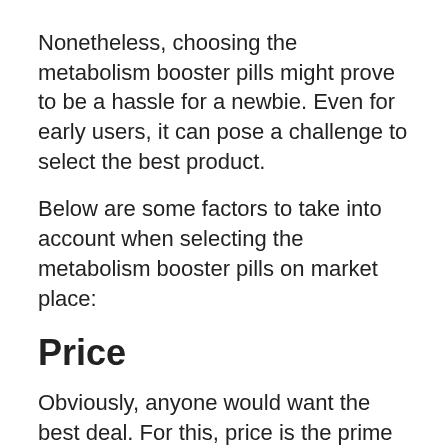Nonetheless, choosing the metabolism booster pills might prove to be a hassle for a newbie. Even for early users, it can pose a challenge to select the best product.
Below are some factors to take into account when selecting the metabolism booster pills on market place:
Price
Obviously, anyone would want the best deal. For this, price is the prime factor to consider, especially when you purchase metabolism booster pills from market place.
We are sure barely a single person doesn't